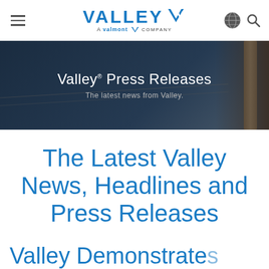Valley — A Valmont Company
[Figure (screenshot): Hero banner image with dark blue gradient background showing text 'Valley Press Releases — The latest news from Valley.' with a wooden fence post visible on the right edge.]
Valley Press Releases
The latest news from Valley.
The Latest Valley News, Headlines and Press Releases
Valley Demonstrates